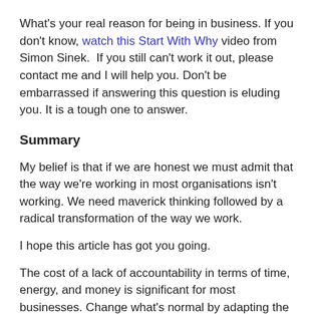What's your real reason for being in business. If you don't know, watch this Start With Why video from Simon Sinek.  If you still can't work it out, please contact me and I will help you. Don't be embarrassed if answering this question is eluding you. It is a tough one to answer.
Summary
My belief is that if we are honest we must admit that the way we're working in most organisations isn't working. We need maverick thinking followed by a radical transformation of the way we work.
I hope this article has got you going.
The cost of a lack of accountability in terms of time, energy, and money is significant for most businesses. Change what's normal by adapting the insights above in your way and watch accountability levels go up as well as your business results.